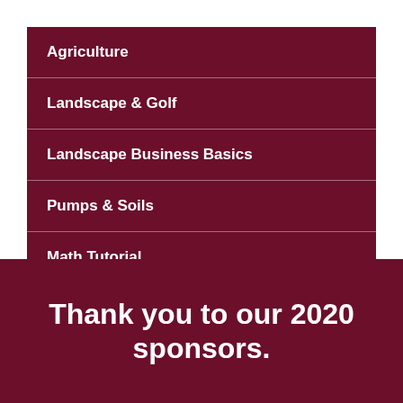Agriculture
Landscape & Golf
Landscape Business Basics
Pumps & Soils
Math Tutorial
Thank you to our 2020 sponsors.